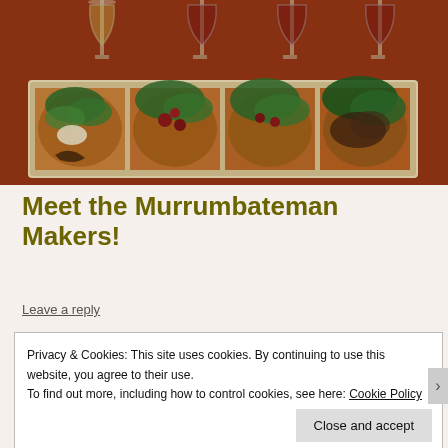[Figure (photo): Photo of four flatbread pizzas with toppings including greens, olives, and cheese on a wooden board, with wine glasses in the background on a red wooden table.]
Meet the Murrumbateman Makers!
Leave a reply
Privacy & Cookies: This site uses cookies. By continuing to use this website, you agree to their use.
To find out more, including how to control cookies, see here: Cookie Policy
Close and accept